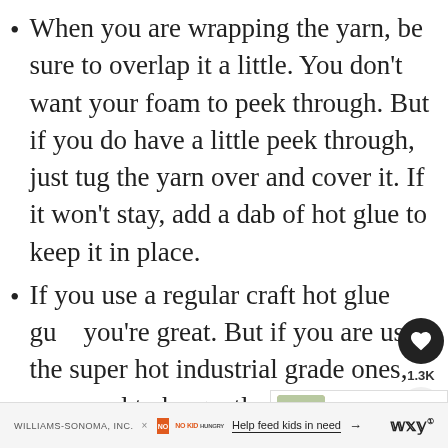When you are wrapping the yarn, be sure to overlap it a little. You don't want your foam to peek through. But if you do have a little peek through, just tug the yarn over and cover it. If it won't stay, add a dab of hot glue to keep it in place.
If you use a regular craft hot glue gun, you're great. But if you are using the super hot industrial grade ones, you need to be gentle with your foam wreath form, because the hot glue will
WILLIAMS-SONOMA, INC. × NO KID HUNGRY Help feed kids in need →